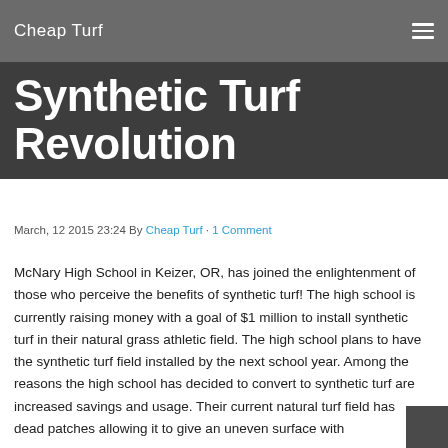Cheap Turf
Synthetic Turf Revolution
March, 12 2015 23:24 By Cheap Turf · 1 Comment
McNary High School in Keizer, OR, has joined the enlightenment of those who perceive the benefits of synthetic turf! The high school is currently raising money with a goal of $1 million to install synthetic turf in their natural grass athletic field. The high school plans to have the synthetic turf field installed by the next school year. Among the reasons the high school has decided to convert to synthetic turf are increased savings and usage. Their current natural turf field has dead patches allowing it to give an uneven surface with